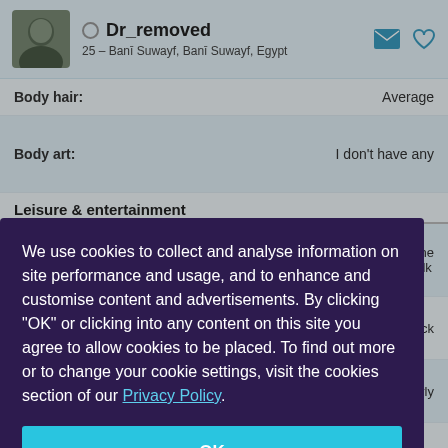Dr_removed — 25 – Banī Suwayf, Banī Suwayf, Egypt
Body hair: Average
Body art: I don't have any
Leisure & entertainment
ant; Going to the; Going for a walk
/ Hip Hop; Rock
books regularly
ious; Romance; Self-help; Travel
We use cookies to collect and analyse information on site performance and usage, and to enhance and customise content and advertisements. By clicking "OK" or clicking into any content on this site you agree to allow cookies to be placed. To find out more or to change your cookie settings, visit the cookies section of our Privacy Policy.